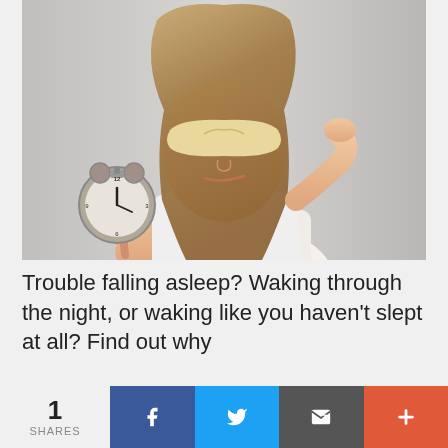[Figure (photo): Young woman wearing a sleep mask pushed up on her forehead, holding a silver alarm clock in one hand and touching her head with the other, wearing a white tank top, against a light grey background.]
Trouble falling asleep? Waking through the night, or waking like you haven't slept at all? Find out why
1 SHARES